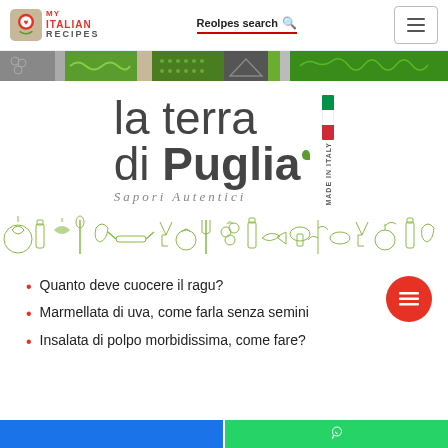[Figure (screenshot): My Italian Recipes website header with logo, search bar, and hamburger menu]
[Figure (illustration): Decorative colored banner strip with food-themed pattern tiles in gray and green]
[Figure (logo): La terra di Puglia brand logo with Made in Italy flag badge and Sapori Autentici tagline]
[Figure (illustration): Decorative food icons strip with vegetables, wine, cooking utensils in green outline style]
Quanto deve cuocere il ragu?
Marmellata di uva, come farla senza semini
Insalata di polpo morbidissima, come fare?
[Figure (illustration): Bottom footer bar split blue and green (WhatsApp icon on right)]